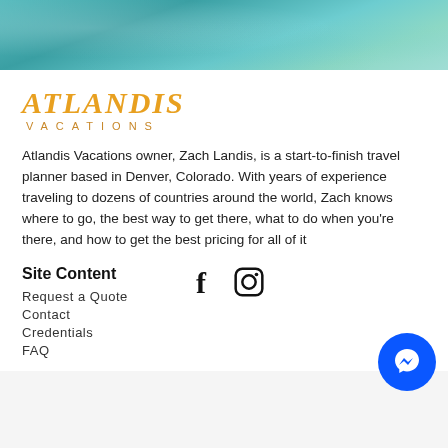[Figure (photo): Teal/turquoise ocean water aerial view hero image at top of page]
ATLANDIS VACATIONS
Atlandis Vacations owner, Zach Landis, is a start-to-finish travel planner based in Denver, Colorado. With years of experience traveling to dozens of countries around the world, Zach knows where to go, the best way to get there, what to do when you're there, and how to get the best pricing for all of it
Site Content
Request a Quote
Contact
Credentials
FAQ
[Figure (illustration): Facebook and Instagram social media icons]
[Figure (illustration): Blue circular Messenger chat button in bottom right corner]